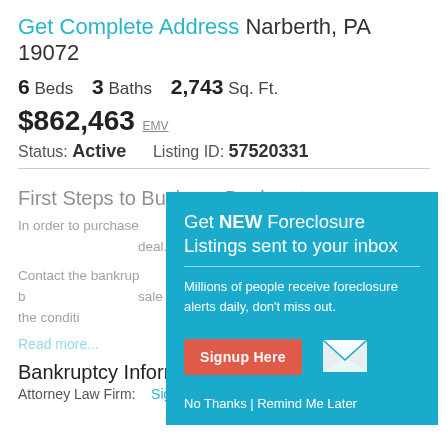Get Complete Address Narberth, PA 19072
6 Beds   3 Baths   2,743 Sq. Ft.
$862,463 EMV
Status: Active   Listing ID: 57520331
First Steps to Buying a Bankruptcy
In order to purchase a approach the court a deal.
Contact the bankrup sale as part of the b sale of the property regarding the conditi understand the type
Read more...
[Figure (screenshot): Modal popup overlay with teal background: 'Get NEW Foreclosure Listings sent to your inbox'. Contains description text, Signup Here red button, mail icon, and No Thanks | Remind Me Later links.]
Bankruptcy Information
Attorney Law Firm:   Sign in to view